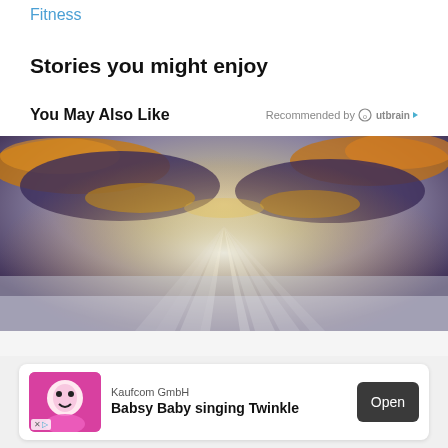Fitness
Stories you might enjoy
You May Also Like
Recommended by Outbrain
[Figure (photo): Dramatic sky photograph showing golden sunbeams breaking through dark storm clouds, with rays of light streaming downward through the clouds creating a heavenly effect.]
Kaufcom GmbH
Babsy Baby singing Twinkle
Open